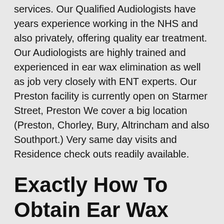services. Our Qualified Audiologists have years experience working in the NHS and also privately, offering quality ear treatment. Our Audiologists are highly trained and experienced in ear wax elimination as well as job very closely with ENT experts. Our Preston facility is currently open on Starmer Street, Preston We cover a big location (Preston, Chorley, Bury, Altrincham and also Southport.) Very same day visits and Residence check outs readily available.
Exactly How To Obtain Ear Wax Removal In Preston.